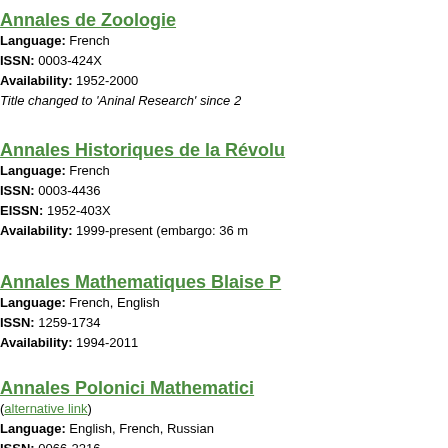Annales de Zoologie
Language: French
ISSN: 0003-424X
Availability: 1952-2000
Title changed to 'Aninal Research' since 2...
Annales Historiques de la Révolu...
Language: French
ISSN: 0003-4436
EISSN: 1952-403X
Availability: 1999-present (embargo: 36 m...
Annales Mathematiques Blaise P...
Language: French, English
ISSN: 1259-1734
Availability: 1994-2011
Annales Polonici Mathematici
(alternative link)
Language: English, French, Russian
ISSN: 0066-2216
EISSN: 1730-6272